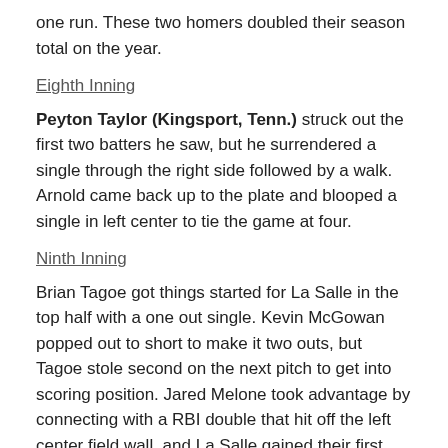one run. These two homers doubled their season total on the year.
Eighth Inning
Peyton Taylor (Kingsport, Tenn.) struck out the first two batters he saw, but he surrendered a single through the right side followed by a walk. Arnold came back up to the plate and blooped a single in left center to tie the game at four.
Ninth Inning
Brian Tagoe got things started for La Salle in the top half with a one out single. Kevin McGowan popped out to short to make it two outs, but Tagoe stole second on the next pitch to get into scoring position. Jared Melone took advantage by connecting with a RBI double that hit off the left center field wall, and La Salle gained their first lead of the afternoon. The Explorers didn't stop there as Ravert smoked a single up the middle to make it a 6-4 advantage. Taylor got the third out by forcing the La Salle batter to fly